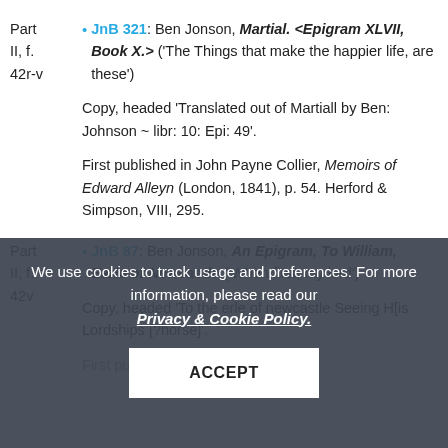Part II, f. 42r-v • JnB 321: Ben Jonson, Martial. <Epigram XLVII, Book X.> ('The Things that make the happier life, are these')
Copy, headed 'Translated out of Martiall by Ben: Johnson ~ libr: 10: Epi: 49'.
First published in John Payne Collier, Memoirs of Edward Alleyn (London, 1841), p. 54. Herford & Simpson, VIII, 295.
Part II, f. 42v • JnB 87: Ben Jonson, An Epigram, To William, Earle of Newcastle ('When first, my lord')
Copy, headed 'To the erle of newcastle Seeing His Lordships [?horse]'.
We use cookies to track usage and preferences. For more information, please read our Privacy & Cookie Policy.